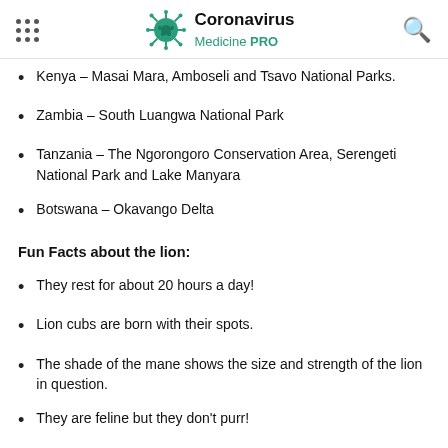Coronavirus Medicine PRO
Kenya – Masai Mara, Amboseli and Tsavo National Parks.
Zambia – South Luangwa National Park
Tanzania – The Ngorongoro Conservation Area, Serengeti National Park and Lake Manyara
Botswana – Okavango Delta
Fun Facts about the lion:
They rest for about 20 hours a day!
Lion cubs are born with their spots.
The shade of the mane shows the size and strength of the lion in question.
They are feline but they don't purr!